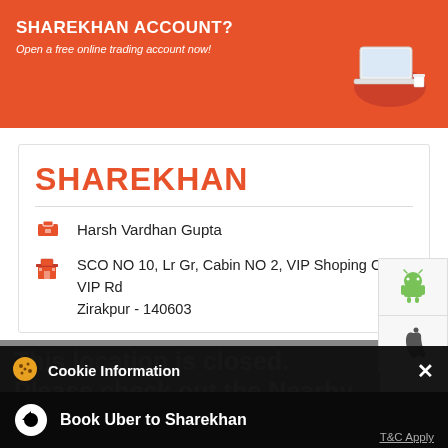[Figure (screenshot): Orange Sharekhan banner with text 'SHAREKHAN ACCOUNT?' and subtitle 'Open a free online trading account now!' with laptop illustration on right]
SHAREKHAN
Harsh Vardhan Gupta
SCO NO 10, Lr Gr, Cabin NO 2, VIP Shoping Comp VIP Rd
Zirakpur - 140603
[Figure (screenshot): This location is closed. Please check out the Nearby Locations below]
Cookie Information
On our website, we use services (including from third-party providers) that help us to improve our online presence (optimization of website) and to display content that is geared to their interests. We need your consent before being able to use these services.
LOOKING FOR A BETTER DEMAT
Book Uber to Sharekhan
T&C Apply